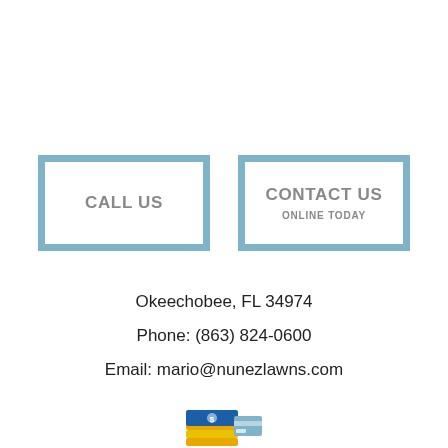[Figure (infographic): Two call-to-action buttons side by side: 'CALL US' and 'CONTACT US / ONLINE TODAY', both with light blue borders on white background]
Okeechobee, FL 34974
Phone: (863) 824-0600
Email: mario@nunezlawns.com
[Figure (illustration): Small icons of cash/money and a credit card at the bottom of the page]